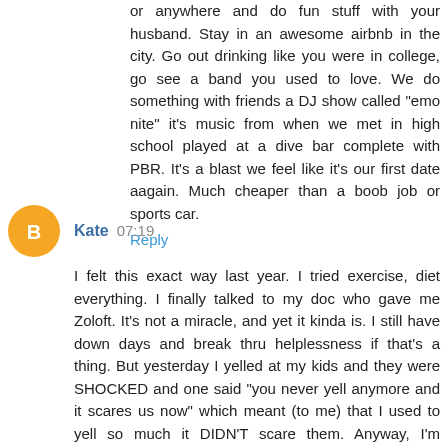or anywhere and do fun stuff with your husband. Stay in an awesome airbnb in the city. Go out drinking like you were in college, go see a band you used to love. We do something with friends a DJ show called "emo nite" it's music from when we met in high school played at a dive bar complete with PBR. It's a blast we feel like it's our first date aagain. Much cheaper than a boob job or sports car.
Reply
Kate 07:19
I felt this exact way last year. I tried exercise, diet everything. I finally talked to my doc who gave me Zoloft. It's not a miracle, and yet it kinda is. I still have down days and break thru helplessness if that's a thing. But yesterday I yelled at my kids and they were SHOCKED and one said "you never yell anymore and it scares us now" which meant (to me) that I used to yell so much it DIDN'T scare them. Anyway, I'm amazed every day that a pill could change my life this much. Very low dose few side effects. Happy to answer any questions! Hope you find your magic answer (in pill form or not). Xo